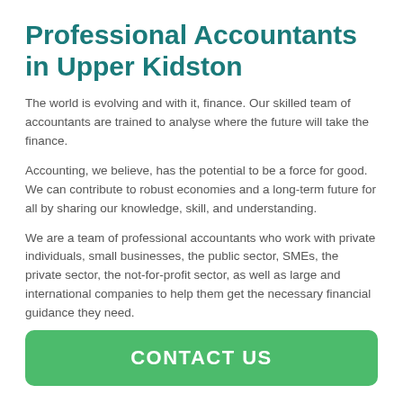Professional Accountants in Upper Kidston
The world is evolving and with it, finance. Our skilled team of accountants are trained to analyse where the future will take the finance.
Accounting, we believe, has the potential to be a force for good. We can contribute to robust economies and a long-term future for all by sharing our knowledge, skill, and understanding.
We are a team of professional accountants who work with private individuals, small businesses, the public sector, SMEs, the private sector, the not-for-profit sector, as well as large and international companies to help them get the necessary financial guidance they need.
CONTACT US